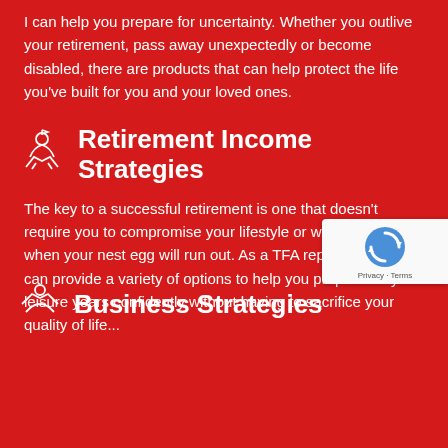I can help you prepare for uncertainty. Whether you outlive your retirement, pass away unexpectedly or become disabled, there are products that can help protect the life you've built for you and your loved ones.
Retirement Income Strategies
The key to a successful retirement is one that doesn't require you to compromise your lifestyle or wonder if and when your nest egg will run out. As a TFA representative, I can provide a variety of options to help you prepare for your leisure years confidently without having to sacrifice your quality of life...
[Figure (logo): reCAPTCHA badge with logo and Privacy/Terms links]
Business Strategies